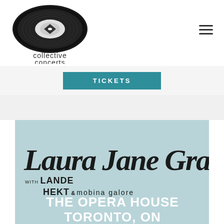[Figure (logo): Collective Concerts vinyl record logo with text 'collective concerts' below]
[Figure (other): Hamburger menu icon (three horizontal lines)]
[Figure (other): Teal TICKETS button]
[Figure (photo): Concert poster on light blue-grey background: 'Laura Jane Grace with Lande Hekt & mobina galore - THE OPERA HOUSE TORONTO, ON' in stylized script and bold uppercase text]